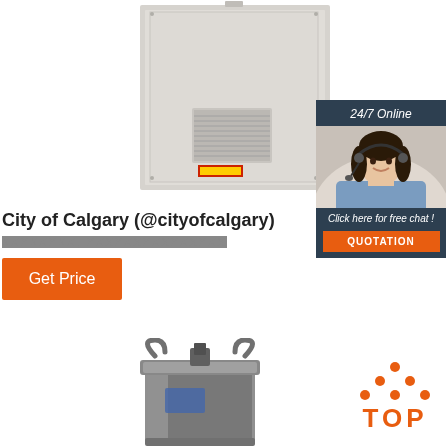[Figure (photo): Gray electrical panel/cabinet with ventilation grille and label, photographed from the front]
[Figure (photo): Advertisement banner: woman with headset, '24/7 Online', 'Click here for free chat!', 'QUOTATION' button]
City of Calgary (@cityofcalgary)
XXXXXXXX, XXXXXXXXXXXXXXX
Get Price
[Figure (photo): Industrial cylindrical metal component with lifting hooks, photographed]
[Figure (logo): TOP badge with orange dots arranged in triangle pattern above orange TOP text]